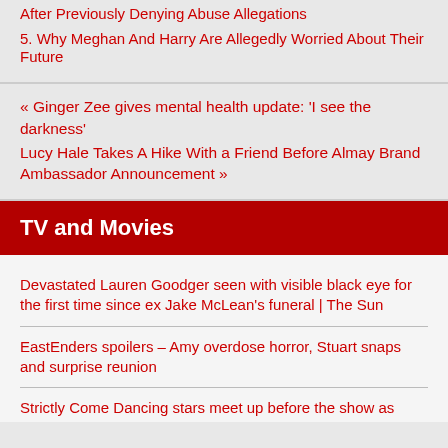After Previously Denying Abuse Allegations
5. Why Meghan And Harry Are Allegedly Worried About Their Future
« Ginger Zee gives mental health update: 'I see the darkness'
Lucy Hale Takes A Hike With a Friend Before Almay Brand Ambassador Announcement »
TV and Movies
Devastated Lauren Goodger seen with visible black eye for the first time since ex Jake McLean's funeral | The Sun
EastEnders spoilers – Amy overdose horror, Stuart snaps and surprise reunion
Strictly Come Dancing stars meet up before the show as